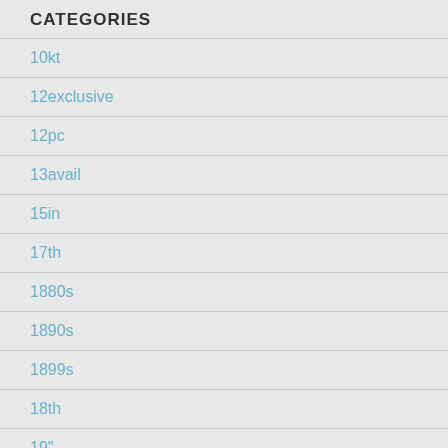CATEGORIES
10kt
12exclusive
12pc
13avail
15in
17th
1880s
1890s
1899s
18th
19"
1900s